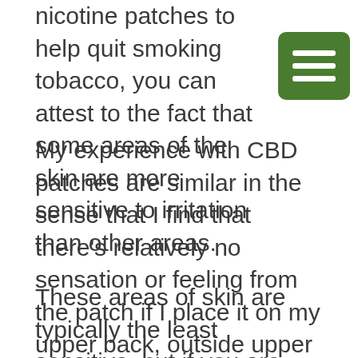nicotine patches to help quit smoking tobacco, you can attest to the fact that some areas of the skin are more sensitive to irritation than other areas.
[Figure (other): Green hamburger menu button with three white horizontal lines]
My experience with CBD patches are similar in the sense that I find that there's relatively no sensation or feeling from the patch if I place it on my upper back, outside upper arm or shoulder area, legs, or chest.
These areas of skin are typically the least sensitive, but if you are targeting a specific area, please consider placing in that area if flat and not subject to